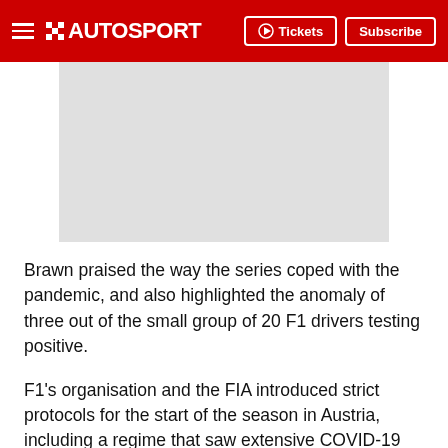AUTOSPORT — Tickets | Subscribe
[Figure (photo): Grey placeholder image rectangle]
Brawn praised the way the series coped with the pandemic, and also highlighted the anomaly of three out of the small group of 20 F1 drivers testing positive.
F1's organisation and the FIA introduced strict protocols for the start of the season in Austria, including a regime that saw extensive COVID-19 testing on race weekends that involved both the travelling regulars and local officials and staff at the venues.